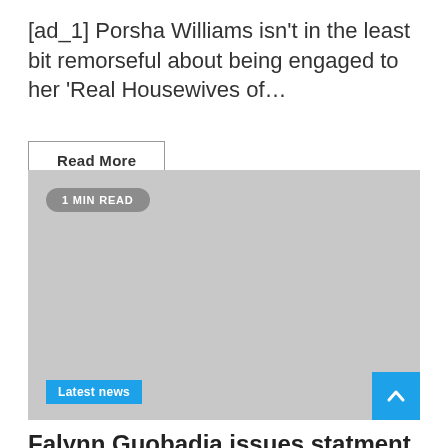[ad_1] Porsha Williams isn't in the least bit remorseful about being engaged to her 'Real Housewives of…
Read More
[Figure (photo): Gray placeholder image with '1 MIN READ' badge and 'Latest news' label]
Falynn Guobadia issues statment on her